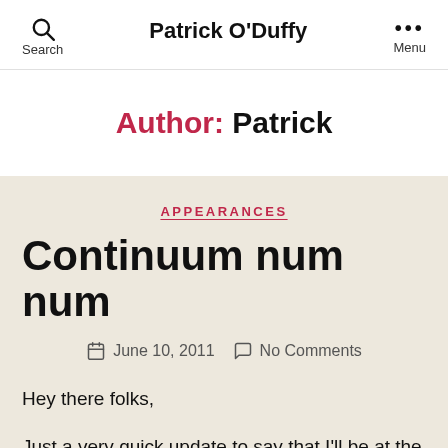Patrick O'Duffy
Author: Patrick
APPEARANCES
Continuum num num
June 10, 2011   No Comments
Hey there folks,
Just a very quick update to say that I'll be at the